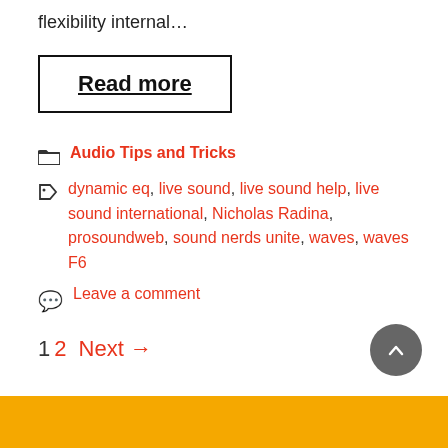flexibility internal…
Read more
Audio Tips and Tricks
dynamic eq, live sound, live sound help, live sound international, Nicholas Radina, prosoundweb, sound nerds unite, waves, waves F6
Leave a comment
1 2 Next →